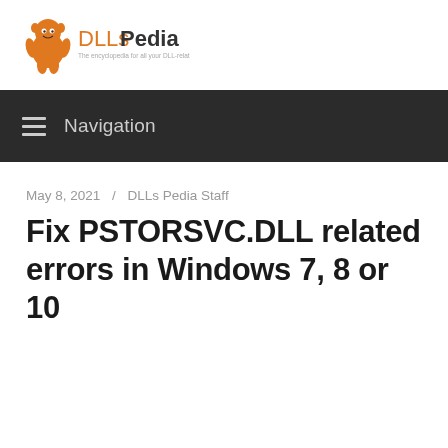[Figure (logo): DLLsPedia logo with orange cartoon character mascot and text 'DLLsPedia' with tagline]
Navigation
May 8, 2021 / DLLs Pedia Staff
Fix PSTORSVC.DLL related errors in Windows 7, 8 or 10